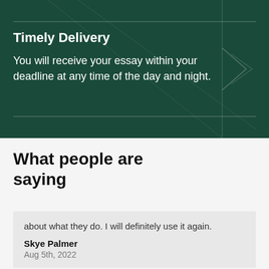Timely Delivery
You will receive your essay within your deadline at any time of the day and night.
What people are saying
about what they do. I will definitely use it again.
Skye Palmer
Aug 5th, 2022